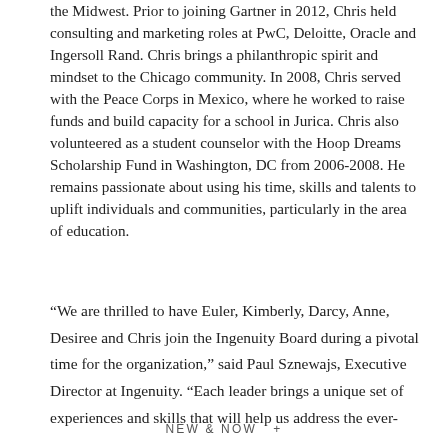the Midwest. Prior to joining Gartner in 2012, Chris held consulting and marketing roles at PwC, Deloitte, Oracle and Ingersoll Rand. Chris brings a philanthropic spirit and mindset to the Chicago community. In 2008, Chris served with the Peace Corps in Mexico, where he worked to raise funds and build capacity for a school in Jurica. Chris also volunteered as a student counselor with the Hoop Dreams Scholarship Fund in Washington, DC from 2006-2008. He remains passionate about using his time, skills and talents to uplift individuals and communities, particularly in the area of education.
“We are thrilled to have Euler, Kimberly, Darcy, Anne, Desiree and Chris join the Ingenuity Board during a pivotal time for the organization,” said Paul Sznewajs, Executive Director at Ingenuity. “Each leader brings a unique set of experiences and skills that will help us address the ever-
NEW & NOW  +